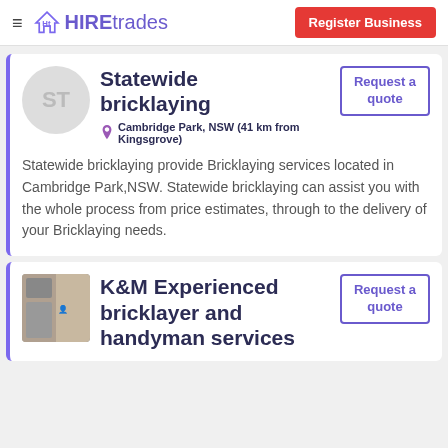HIREtrades | Register Business
Statewide bricklaying
Cambridge Park, NSW (41 km from Kingsgrove)
Statewide bricklaying provide Bricklaying services located in Cambridge Park,NSW. Statewide bricklaying can assist you with the whole process from price estimates, through to the delivery of your Bricklaying needs.
K&M Experienced bricklayer and handyman services